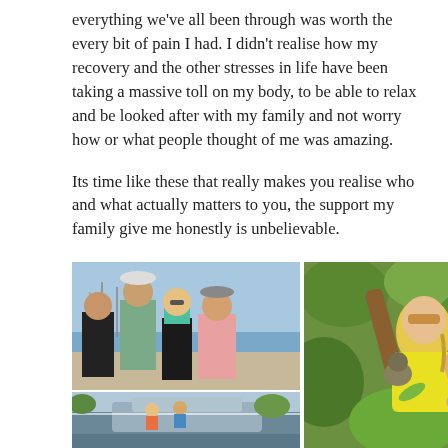everything we've all been through was worth the every bit of pain I had. I didn't realise how my recovery and the other stresses in life have been taking a massive toll on my body, to be able to relax and be looked after with my family and not worry how or what people thought of me was amazing.
Its time like these that really makes you realise who and what actually matters to you, the support my family give me honestly is unbelievable.
[Figure (photo): Group photo of four people standing together outdoors near a waterfront marina on a sunny day. Left to right: older woman in black, tall young man in green shirt and hat with sunglasses, blonde woman in bikini top with sunglasses, young man in pink shirt with cap.]
[Figure (photo): Outdoor scene near a boat/dock with people visible.]
[Figure (photo): Blonde woman with braided hair wearing yellow, feeding or interacting with a koala or bird amid green leafy branches outdoors.]